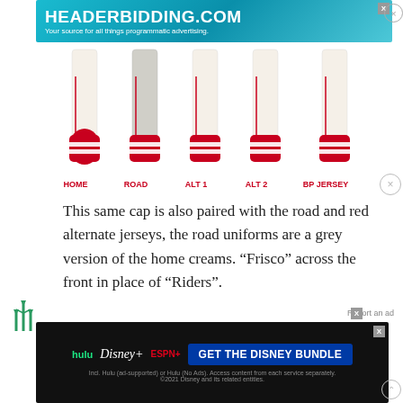[Figure (other): Advertisement banner for headerbidding.com with teal/blue gradient background. Text reads 'HEADERBIDDING.COM' and 'Your source for all things programmatic advertising.']
[Figure (illustration): Five baseball uniform sock/pants leg illustrations labeled HOME, ROAD, ALT 1, ALT 2, BP JERSEY. Each shows white/grey pants with red socks with stripe details.]
This same cap is also paired with the road and red alternate jerseys, the road uniforms are a grey version of the home creams. “Frisco” across the front in place of “Riders”.
There are two alternates, a red and a blue, both share the same design with “Riders” across the front in white, but there’s a shown paired with a red cap featuring the
[Figure (other): Disney Bundle advertisement. Shows Hulu, Disney+, ESPN+ logos with 'GET THE DISNEY BUNDLE' call to action on dark background.]